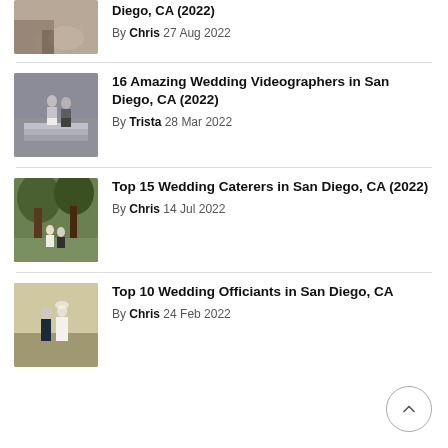Diego, CA (2022) By Chris 27 Aug 2022
16 Amazing Wedding Videographers in San Diego, CA (2022) By Trista 28 Mar 2022
Top 15 Wedding Caterers in San Diego, CA (2022) By Chris 14 Jul 2022
Top 10 Wedding Officiants in San Diego, CA By Chris 24 Feb 2022